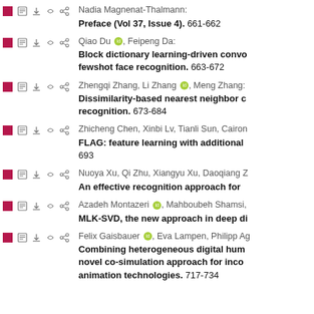Nadia Magnenat-Thalmann: Preface (Vol 37, Issue 4). 661-662
Qiao Du, Feipeng Da: Block dictionary learning-driven convolutional fewshot face recognition. 663-672
Zhengqi Zhang, Li Zhang, Meng Zhang: Dissimilarity-based nearest neighbor classification for recognition. 673-684
Zhicheng Chen, Xinbi Lv, Tianli Sun, Cairon: FLAG: feature learning with additional 693
Nuoya Xu, Qi Zhu, Xiangyu Xu, Daoqiang Z: An effective recognition approach for
Azadeh Montazeri, Mahboubeh Shamsi: MLK-SVD, the new approach in deep di
Felix Gaisbauer, Eva Lampen, Philipp Ag: Combining heterogeneous digital human novel co-simulation approach for incorporating animation technologies. 717-734